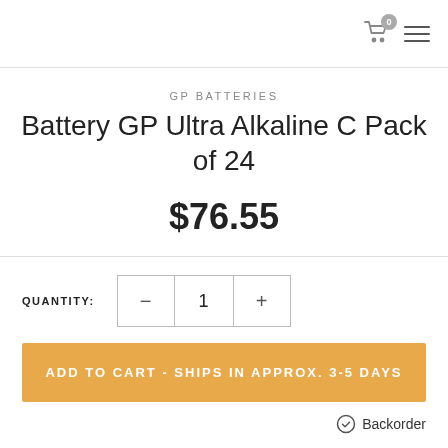0 (cart icon) menu
GP BATTERIES
Battery GP Ultra Alkaline C Pack of 24
$76.55
QUANTITY: 1
ADD TO CART - SHIPS IN APPROX. 3-5 DAYS
Backorder